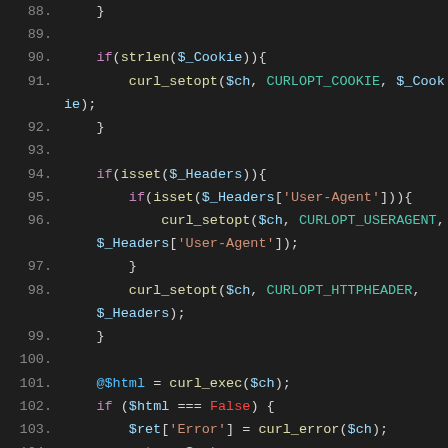[Figure (screenshot): PHP source code editor screenshot showing lines 88-106 of a PHP script, dark theme. Code involves curl_setopt calls for cookie and header handling, curl_exec, error checking, and curl_getinfo.]